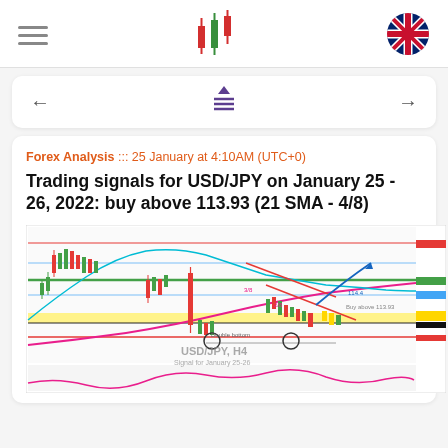Navigation header with hamburger menu, candlestick logo, and UK flag
[Figure (other): Navigation bar with back arrow, list/filter icon, and forward arrow]
Forex Analysis ::: 25 January at 4:10AM (UTC+0)
Trading signals for USD/JPY on January 25 - 26, 2022: buy above 113.93 (21 SMA - 4/8)
[Figure (continuous-plot): USD/JPY H4 candlestick chart showing price action with moving averages (cyan and magenta), horizontal support/resistance levels, a descending channel drawn in red, annotated price levels including 'Buy above 113.93', double bottom pattern circles, and projected upward arrow. Chart labeled 'USD/JPY, H4 Signal for January 25-26'. Below is a pink oscillator (MACD/stochastic) subplot.]